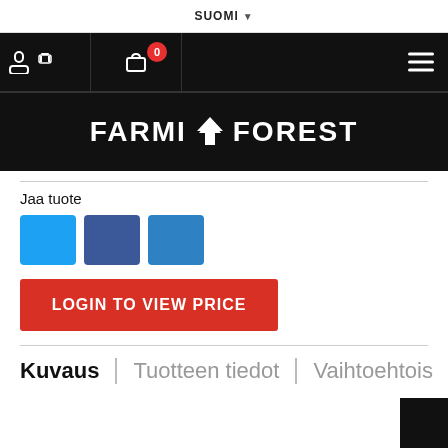SUOMI
[Figure (screenshot): Navigation bar with person icon, cart icon with badge showing 0, and hamburger menu on black background]
FARMI FOREST
Jaa tuote
[Figure (infographic): Three social share buttons: Twitter (light blue), Facebook (dark blue), LinkedIn (blue)]
LOGIN TO VIEW PRICE
Kuvaus | Tuotteen tiedot | Vaihtoehtois